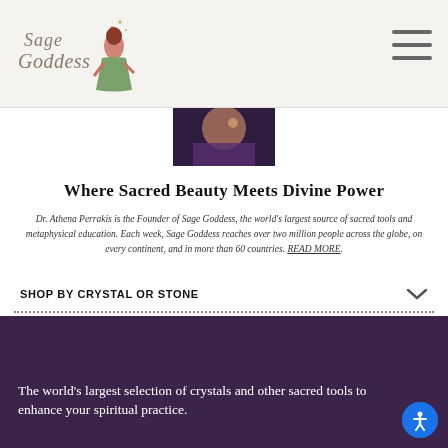[Figure (logo): Sage Goddess logo with illustrated woman in green dress]
[Figure (photo): Partial photo of a person, dark/purple toned, cropped at top]
Where Sacred Beauty Meets Divine Power
Dr. Athena Perrakis is the Founder of Sage Goddess, the world’s largest source of sacred tools and metaphysical education. Each week, Sage Goddess reaches over two million people across the globe, on every continent, and in more than 60 countries. READ MORE.
SHOP BY CRYSTAL OR STONE
SHOP BY INTENTION
The world's largest selection of crystals and other sacred tools to enhance your spiritual practice.